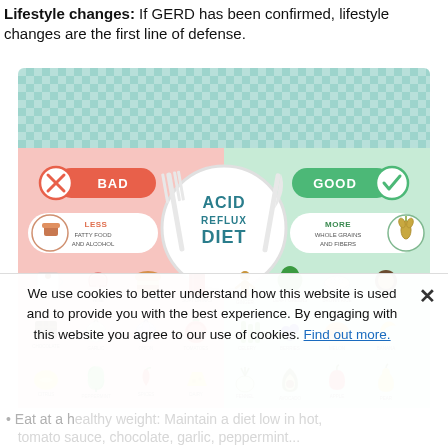Lifestyle changes: If GERD has been confirmed, lifestyle changes are the first line of defense.
[Figure (infographic): Acid Reflux Diet infographic showing BAD foods (coffee, wine, fat food, soft drinks, chocolate, garlic, onion, tomatoes, citrus, peppermint, spices, dairy) on pink/left side and GOOD foods (ginger, leafy greens, brown rice, coconut, celery, berries, melon, banana, fennel, avocado, apple, pear) on green/right side. Center shows a plate with fork and knife. Labels: LESS fatty food and alcohol (bad), MORE whole grains and fibers (good).]
We use cookies to better understand how this website is used and to provide you with the best experience. By engaging with this website you agree to our use of cookies. Find out more.
Eat at a healthy weight: Maintain a diet low in hot, tomato sauce, chocolate, garlic, peppermint...